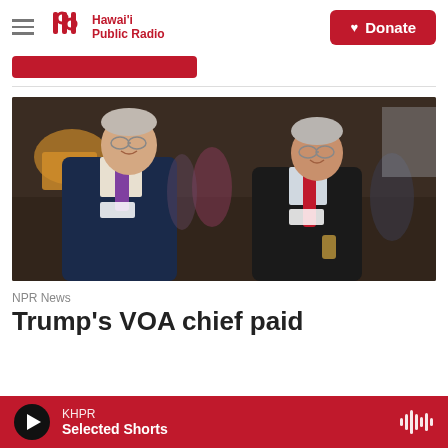Hawai'i Public Radio — Donate
[Figure (photo): Two older men in suits smiling at a formal event. The man on the left wears a navy suit and purple tie; the man on the right wears a dark suit and red tie and holds a glass.]
NPR News
Trump's VOA chief paid
KHPR
Selected Shorts